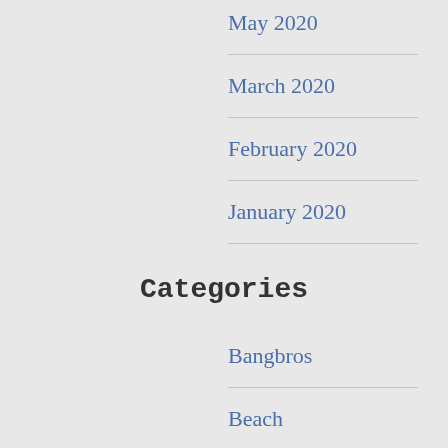May 2020
March 2020
February 2020
January 2020
Categories
Bangbros
Beach
Blindfolded
Blowjob